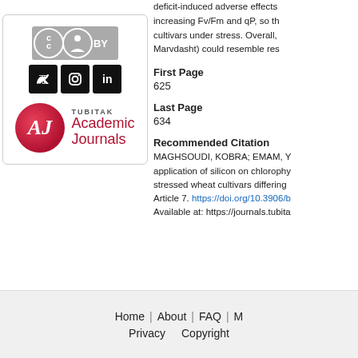[Figure (logo): Creative Commons BY logo, social media icons (Twitter, Instagram, LinkedIn), and TUBITAK Academic Journals logo]
deficit-induced adverse effects … increasing Fv/Fm and qP, so th… cultivars under stress. Overall, … Marvdasht) could resemble res…
First Page
625
Last Page
634
Recommended Citation
MAGHSOUDI, KOBRA; EMAM, Y… application of silicon on chlorophy… stressed wheat cultivars differing… Article 7. https://doi.org/10.3906/b… Available at: https://journals.tubita…
Home | About | FAQ | M… Privacy   Copyright